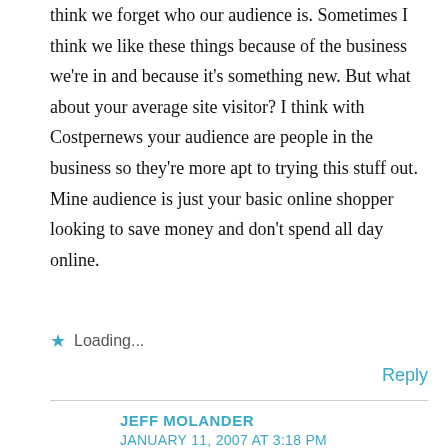think we forget who our audience is. Sometimes I think we like these things because of the business we're in and because it's something new. But what about your average site visitor? I think with Costpernews your audience are people in the business so they're more apt to trying this stuff out. Mine audience is just your basic online shopper looking to save money and don't spend all day online.
Loading...
Reply
JEFF MOLANDER
JANUARY 11, 2007 AT 3:18 PM